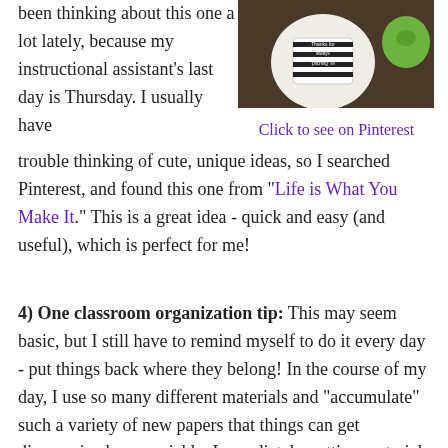been thinking about this one a lot lately, because my instructional assistant's last day is Thursday. I usually have trouble thinking of cute, unique ideas, so I searched Pinterest, and found this one from "Life is What You Make It." This is a great idea - quick and easy (and useful), which is perfect for me!
[Figure (photo): A white ornament or ball with a striped label reading 'Thanks for always pitching in!' sitting next to a green apple on a brown surface.]
Click to see on Pinterest
4) One classroom organization tip: This may seem basic, but I still have to remind myself to do it every day - put things back where they belong! In the course of my day, I use so many different materials and "accumulate" such a variety of new papers that things can get disorganized very quickly. Immediately putting materials back where they belong and putting new materials in their appropriate